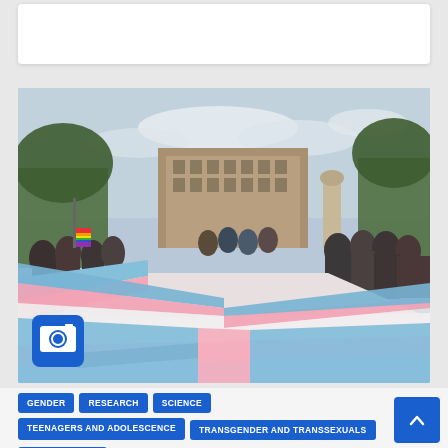[Figure (photo): Photograph of a large transgender pride flag (blue, pink, white, pink, blue stripes) being spread out on the ground at an outdoor rally or march, with crowds of people on both sides, trees and a multi-story building visible in the background, and a camera icon badge overlaid in the lower-left corner.]
GENDER
RESEARCH
SCIENCE
TEENAGERS AND ADOLESCENCE
TRANSGENDER AND TRANSSEXUALS
UNITED STATES